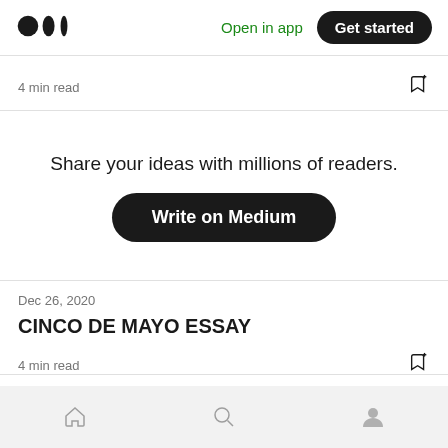Medium logo | Open in app | Get started
4 min read
Share your ideas with millions of readers.
Write on Medium
Dec 26, 2020
CINCO DE MAYO ESSAY
4 min read
Home | Search | Profile